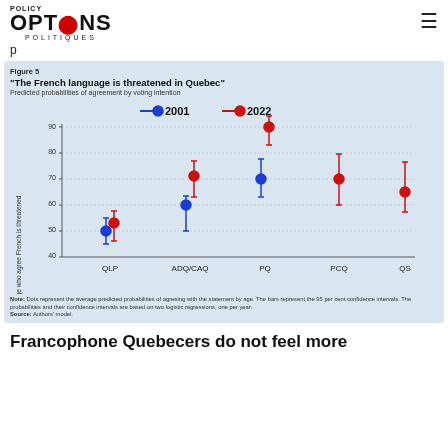POLICY OPTIONS POLITIQUES
p
[Figure (scatter-plot): "The French language is threatened in Quebec"]
Note: Dots represent the average predicted probabilities of agreeing with the statement by age. The bars represent the 95 per cent confidence intervals. The probabilities and their confidence intervals are based on two logistic regressions, one per year. Source: Authors' model.
Francophone Quebecers do not feel more